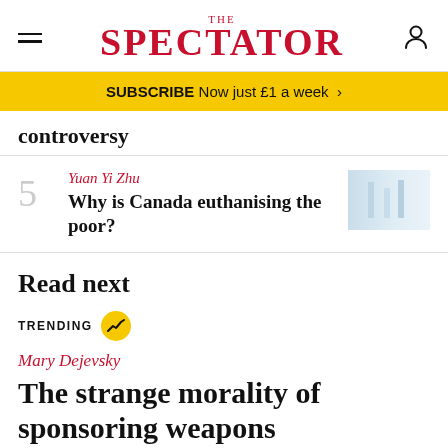THE SPECTATOR
SUBSCRIBE Now just £1 a week >
controversy
5  Yuan Yi Zhu  Why is Canada euthanising the poor?
Read next
TRENDING
Mary Dejevsky
The strange morality of sponsoring weapons